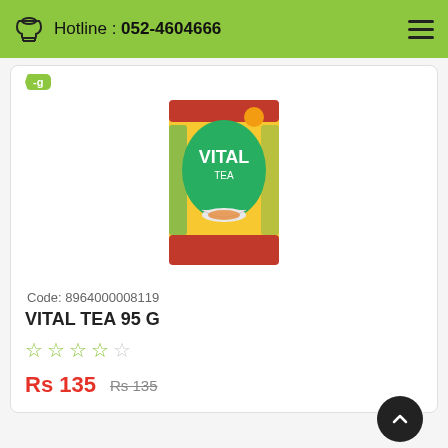Hotline : 052-4604666
[Figure (photo): Vital Tea 95g product box - yellow and green packaging with a cup of tea]
Code: 8964000008119
VITAL TEA 95 G
★★★★☆ (star rating, 4 of 5 outlined)
Rs 135  Rs 135
-5
Code: 8964000008478